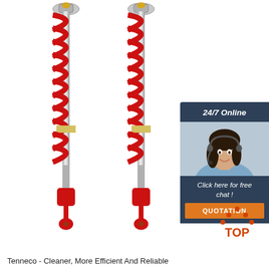[Figure (photo): Two red coilover shock absorbers with red springs and chrome bodies on white background]
[Figure (infographic): 24/7 Online chat widget with female customer service agent wearing headset, 'Click here for free chat!' text, and orange QUOTATION button]
[Figure (logo): TOP logo with orange triangle/arch dots above text]
Tenneco - Cleaner, More Efficient And Reliable